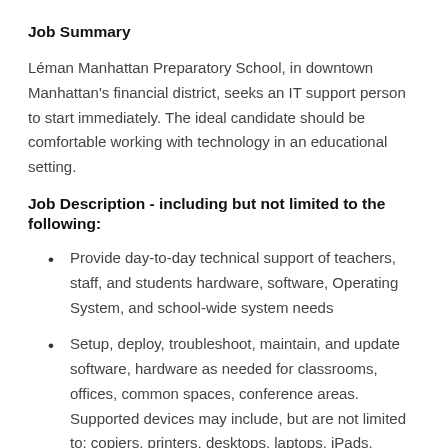Job Summary
Léman Manhattan Preparatory School, in downtown Manhattan's financial district, seeks an IT support person to start immediately. The ideal candidate should be comfortable working with technology in an educational setting.
Job Description - including but not limited to the following:
Provide day-to-day technical support of teachers, staff, and students hardware, software, Operating System, and school-wide system needs
Setup, deploy, troubleshoot, maintain, and update software, hardware as needed for classrooms, offices, common spaces, conference areas. Supported devices may include, but are not limited to: copiers, printers, desktops, laptops, iPads, smartphones